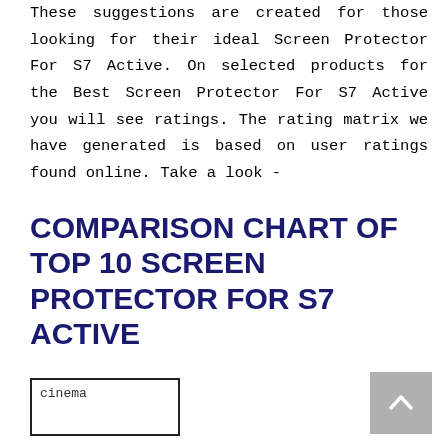These suggestions are created for those looking for their ideal Screen Protector For S7 Active. On selected products for the Best Screen Protector For S7 Active you will see ratings. The rating matrix we have generated is based on user ratings found online. Take a look -
COMPARISON CHART OF TOP 10 SCREEN PROTECTOR FOR S7 ACTIVE
[Figure (other): Cinema-style logo box with text 'cinema' inside a rectangular border]
[Figure (other): Grey scroll-to-top button with upward-pointing chevron arrow]